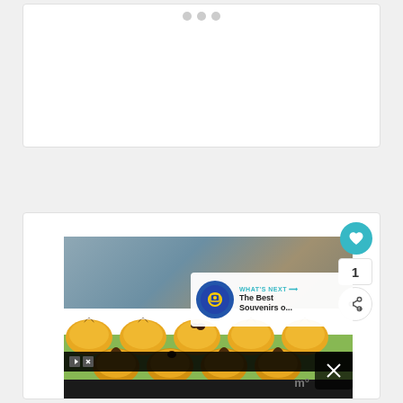[Figure (screenshot): Top white card with three small gray circle icons centered near the top, on a light gray background.]
[Figure (photo): Photo of rows of small yellow dome-shaped pastries/cookies with chocolate topping, arranged on a green surface against a gray-blue textured background. Overlaid with a teal heart/like button showing count 1, a share button, a 'What's Next' overlay showing a camera icon and text 'The Best Souvenirs o...', an ad bar, and a close X button.]